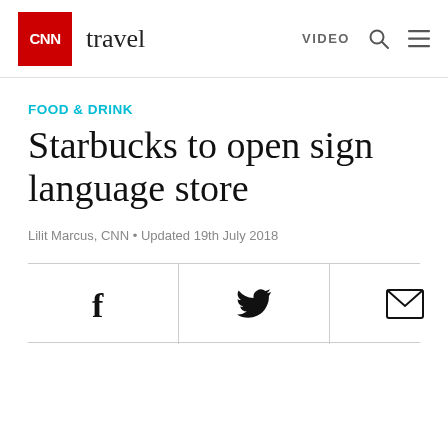CNN travel | VIDEO
FOOD & DRINK
Starbucks to open sign language store
Lilit Marcus, CNN • Updated 19th July 2018
[Figure (other): Social share icons bar with Facebook, Twitter, and email icons divided by vertical lines]